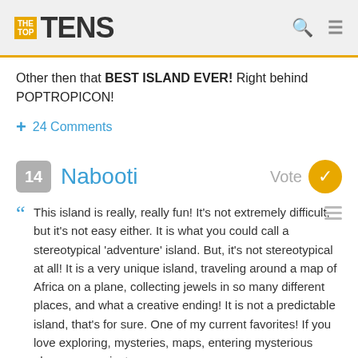THE TOP TENS
Other then that BEST ISLAND EVER! Right behind POPTROPICON!
+ 24 Comments
14 Nabooti
This island is really, really fun! It's not extremely difficult, but it's not easy either. It is what you could call a stereotypical 'adventure' island. But, it's not stereotypical at all! It is a very unique island, traveling around a map of Africa on a plane, collecting jewels in so many different places, and what a creative ending! It is not a predictable island, that's for sure. One of my current favorites! If you love exploring, mysteries, maps, entering mysterious places, or are just an